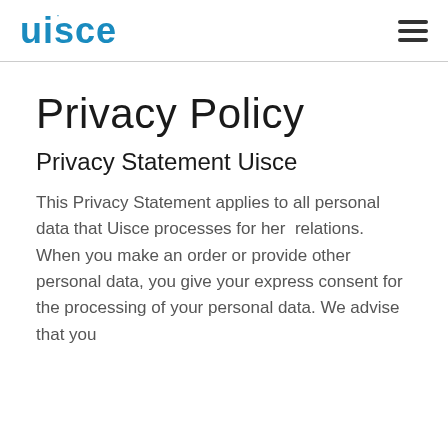uisce
Privacy Policy
Privacy Statement Uisce
This Privacy Statement applies to all personal data that Uisce processes for her relations.
When you make an order or provide other personal data, you give your express consent for the processing of your personal data. We advise that you